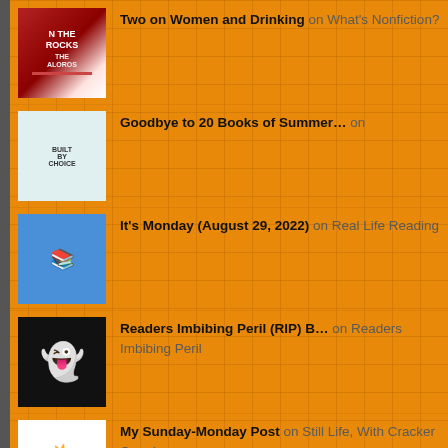Two on Women and Drinking on What's Nonfiction?
Goodbye to 20 Books of Summer… on
It's Monday (August 29, 2022) on Real Life Reading
Readers Imbibing Peril (RIP) B… on Readers Imbibing Peril
My Sunday-Monday Post on Still Life, With Cracker Crumbs..
The Wednesday Hodgepodge on Still Life, With Cracker Crumbs..
Whatnot - 08/24/22 on Book Chatter
Making Journals from Thrift St… on May Contain